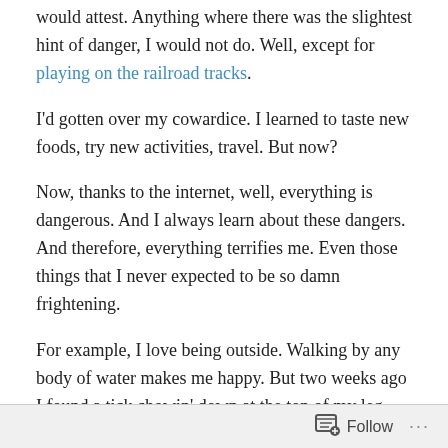would attest.  Anything where there was the slightest hint of danger, I would not do.  Well, except for playing on the railroad tracks.
I'd gotten over my cowardice.  I learned to taste new foods, try new activities, travel.  But now?
Now,  thanks to the internet, well, everything is dangerous.  And I always learn about these dangers.  And therefore, everything terrifies me.  Even those things that I never expected to be so damn frightening.
For example, I love being outside.  Walking by any body of water makes me happy.  But two weeks ago I found a tick chowin' down at the top of my leg, right on a nice healthy vein.  He was a tough sucker, and I needed John's help
Follow